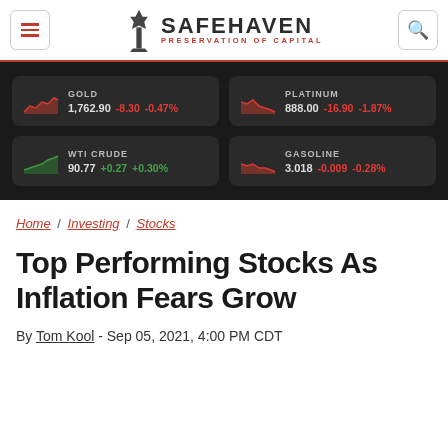SAFEHAVEN — PRESERVATION OF CAPITAL
[Figure (infographic): Financial ticker panel on dark background showing four commodity prices: GOLD 1,762.90 -8.30 -0.47%; PLATINUM 888.00 -16.90 -1.87%; WTI CRUDE 90.77 +0.27 +0.30%; GASOLINE 3.018 -0.009 -0.28%]
Home / Investing / Stocks
Top Performing Stocks As Inflation Fears Grow
By Tom Kool - Sep 05, 2021, 4:00 PM CDT